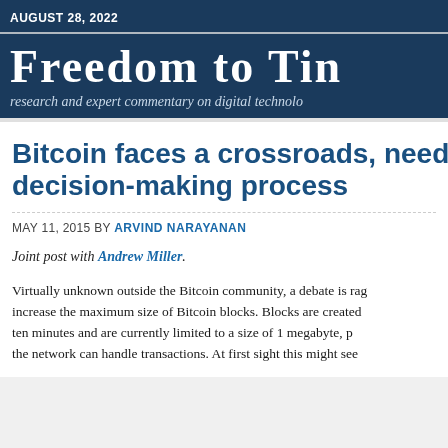AUGUST 28, 2022
Freedom to Tinker — research and expert commentary on digital technology
Bitcoin faces a crossroads, needs a better decision-making process
MAY 11, 2015 BY ARVIND NARAYANAN
Joint post with Andrew Miller.
Virtually unknown outside the Bitcoin community, a debate is raging about whether to increase the maximum size of Bitcoin blocks. Blocks are created approximately every ten minutes and are currently limited to a size of 1 megabyte, putting a limit on how fast the network can handle transactions. At first sight this might see